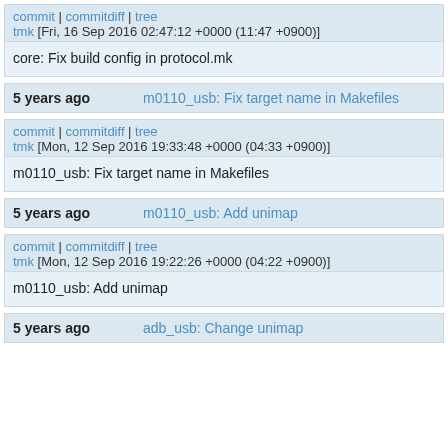commit | commitdiff | tree
tmk [Fri, 16 Sep 2016 02:47:12 +0000 (11:47 +0900)]
core: Fix build config in protocol.mk
5 years ago   m0110_usb: Fix target name in Makefiles
commit | commitdiff | tree
tmk [Mon, 12 Sep 2016 19:33:48 +0000 (04:33 +0900)]
m0110_usb: Fix target name in Makefiles
5 years ago   m0110_usb: Add unimap
commit | commitdiff | tree
tmk [Mon, 12 Sep 2016 19:22:26 +0000 (04:22 +0900)]
m0110_usb: Add unimap
5 years ago   adb_usb: Change unimap